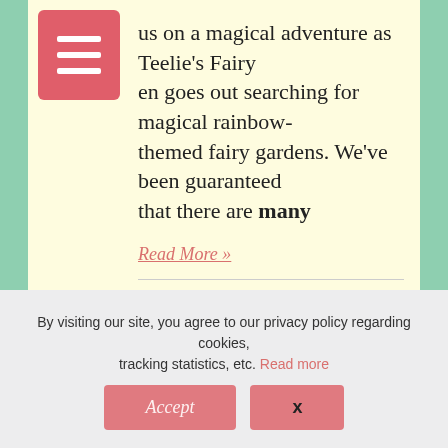us on a magical adventure as Teelie's Fairy en goes out searching for magical rainbow-themed fairy gardens. We've been guaranteed that there are many
Read More »
August 17, 2022
[Figure (other): Fairy Blog pill-shaped button with salmon/coral background and white italic text]
By visiting our site, you agree to our privacy policy regarding cookies, tracking statistics, etc. Read more
Accept
x